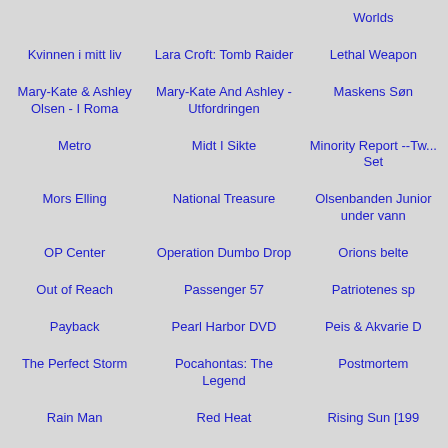Worlds
Kvinnen i mitt liv
Lara Croft: Tomb Raider
Lethal Weapon
Mary-Kate & Ashley Olsen - I Roma
Mary-Kate And Ashley - Utfordringen
Maskens Søn
Metro
Midt I Sikte
Minority Report --Two Set
Mors Elling
National Treasure
Olsenbanden Junior under vann
OP Center
Operation Dumbo Drop
Orions belte
Out of Reach
Passenger 57
Patriotenes sp
Payback
Pearl Harbor DVD
Peis & Akvarie D
The Perfect Storm
Pocahontas: The Legend
Postmortem
Rain Man
Red Heat
Rising Sun [199
Ronin
Sabrina [1996]
Sansenes Rike
Savior [1998]
Scrooged
Shaft
Shallow Hal
Sheena
Sin City